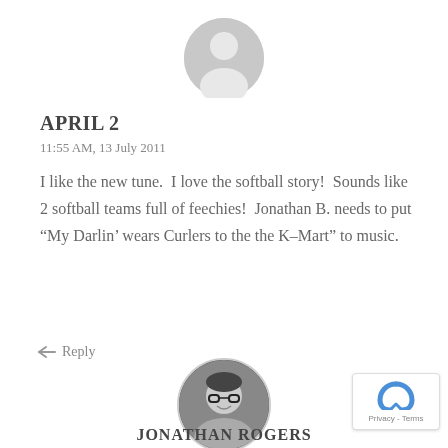[Figure (illustration): Default user avatar — grey circle with white silhouette of a person]
APRIL 2
11:55 AM, 13 July 2011
I like the new tune.  I love the softball story!  Sounds like 2 softball teams full of feechies!  Jonathan B. needs to put “My Darlin’ wears Curlers to the the K-Mart” to music.
← Reply
[Figure (photo): Circular profile photo of Jonathan Rogers — man with glasses, dark hair, smiling, black and white photo]
JONATHAN ROGERS